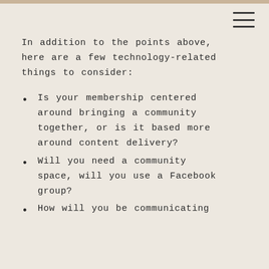In addition to the points above, here are a few technology-related things to consider:
Is your membership centered around bringing a community together, or is it based more around content delivery?
Will you need a community space, will you use a Facebook group?
How will you be communicating